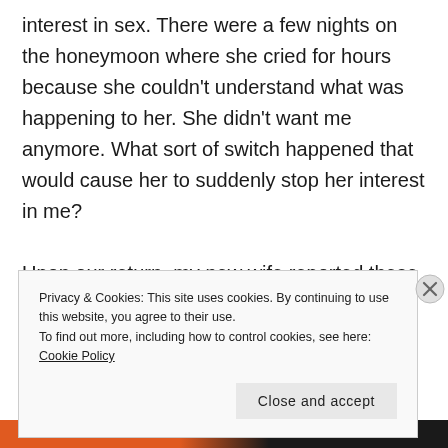interest in sex. There were a few nights on the honeymoon where she cried for hours because she couldn't understand what was happening to her. She didn't want me anymore. What sort of switch happened that would cause her to suddenly stop her interest in me?

Upon our return, my new wife reported these problems to the doctor only to be told that she
Privacy & Cookies: This site uses cookies. By continuing to use this website, you agree to their use.
To find out more, including how to control cookies, see here: Cookie Policy
Close and accept